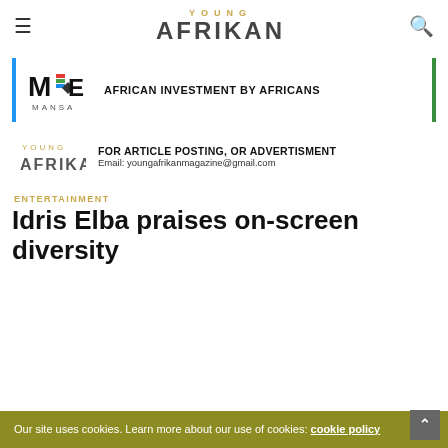Young Afrikan
[Figure (logo): Mansa investment banner with logo and tagline AFRICAN INVESTMENT BY AFRICANS, flanked by blue and green vertical bars]
[Figure (logo): Young Afrikan magazine advertisement banner: FOR ARTICLE POSTING, OR ADVERTISMENT Email: youngafrikanmagazine@gmail.com]
ENTERTAINMENT
Idris Elba praises on-screen diversity
Our site uses cookies. Learn more about our use of cookies: cookie policy